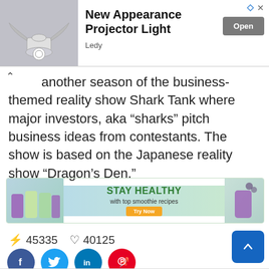[Figure (photo): Advertisement banner for 'New Appearance Projector Light' by Ledy, showing a decorative projector light on grey background, with an Open button.]
bring another season of the business-themed reality show Shark Tank where major investors, aka “sharks” pitch business ideas from contestants. The show is based on the Japanese reality show “Dragon’s Den.”
[Figure (photo): Advertisement banner: STAY HEALTHY with top smoothie recipes - Try Now. Shows colorful smoothie drinks on teal background.]
⚡ 45335   ♡ 40125
[Figure (infographic): Social share buttons: Facebook (blue circle), Twitter (light blue circle), LinkedIn (blue circle), Pinterest (red circle)]